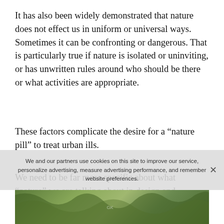It has also been widely demonstrated that nature does not effect us in uniform or universal ways. Sometimes it can be confronting or dangerous. That is particularly true if nature is isolated or uninviting, or has unwritten rules around who should be there or what activities are appropriate.
These factors complicate the desire for a “nature pill” to treat urban ills.
We need to be far more specific about what “nature” we are talking about in design and planning to assist with mental health.
We and our partners use cookies on this site to improve our service, personalize advertising, measure advertising performance, and remember website preferences.
[Figure (photo): Partial photo of nature/foliage scene at bottom of page]